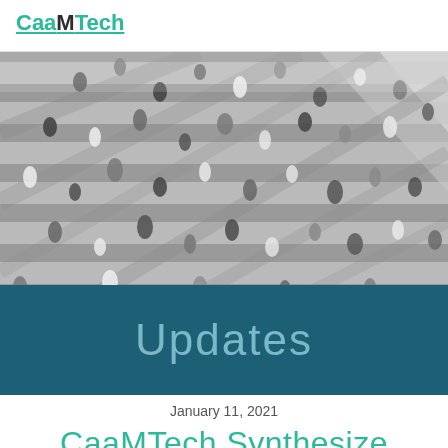CaaMTech
[Figure (photo): Aerial view of a large pedestrian crosswalk with many people walking across, casting long shadows, black and white zebra crossing stripes visible.]
Updates
January 11, 2021
CaaMTech Synthesize